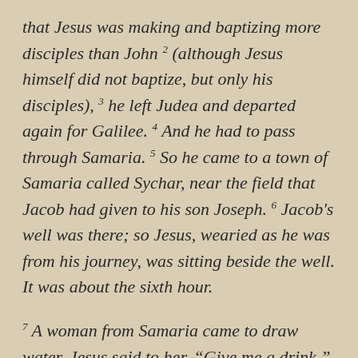that Jesus was making and baptizing more disciples than John 2 (although Jesus himself did not baptize, but only his disciples), 3 he left Judea and departed again for Galilee. 4 And he had to pass through Samaria. 5 So he came to a town of Samaria called Sychar, near the field that Jacob had given to his son Joseph. 6 Jacob's well was there; so Jesus, wearied as he was from his journey, was sitting beside the well. It was about the sixth hour.
7 A woman from Samaria came to draw water. Jesus said to her, “Give me a drink.” 8 (For his disciples had gone away into the city to buy food.) 9 The Samaritan woman said to him, “How is it that you, a Jew, ask for a